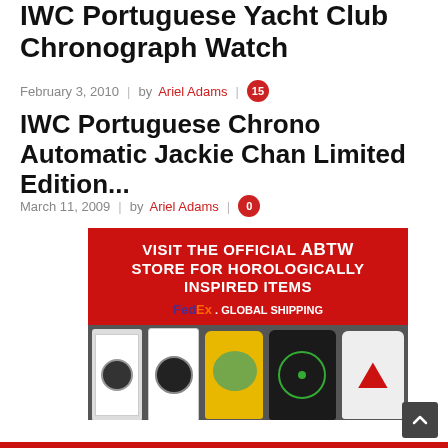IWC Portuguese Yacht Club Chronograph Watch
February 3, 2010 | by Ariel Adams | 15
IWC Portuguese Chrono Automatic Jackie Chan Limited Edition...
March 11, 2009 | by Ariel Adams | 0
[Figure (infographic): ABTW store advertisement with red background showing 'VISIT THE OFFICIAL ABTW STORE FOR HOROLOGICALLY INSPIRED ITEMS', FedEx Global Shipping logo, and merchandise including watch prints and t-shirts displayed below on a dark background.]